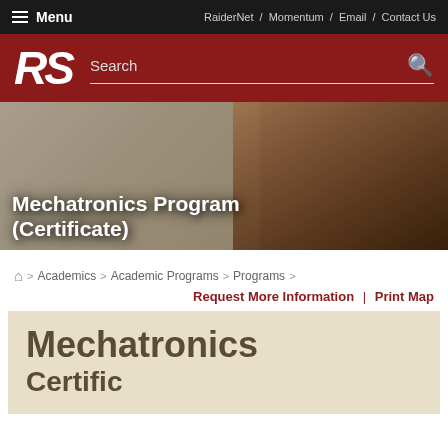Menu | RaiderNet / Momentum / Email / Contact Us
[Figure (screenshot): Red header bar with italic RS logo in white and a Search input field with search icon]
[Figure (photo): Hero image showing a student studying at a whiteboard, with overlay title text 'Mechatronics Program (Certificate)']
Mechatronics Program (Certificate)
Home > Academics > Academic Programs > Programs >
Request More Information | Print Map
Mechatronics Certificate